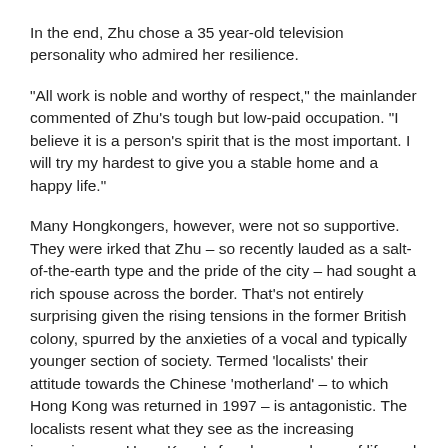In the end, Zhu chose a 35 year-old television personality who admired her resilience.
"All work is noble and worthy of respect," the mainlander commented of Zhu's tough but low-paid occupation. "I believe it is a person's spirit that is the most important. I will try my hardest to give you a stable home and a happy life."
Many Hongkongers, however, were not so supportive. They were irked that Zhu – so recently lauded as a salt-of-the-earth type and the pride of the city – had sought a rich spouse across the border. That's not entirely surprising given the rising tensions in the former British colony, spurred by the anxieties of a vocal and typically younger section of society. Termed 'localists' their attitude towards the Chinese 'motherland' – to which Hong Kong was returned in 1997 – is antagonistic. The localists resent what they see as the increasing incursions on Hong Kong's freedoms and way of life and – as WiC has frequently reported – foment anti-Beijing protests on a regular basis.
In this respect, Zhu's romantic choice of a mainlander touched a